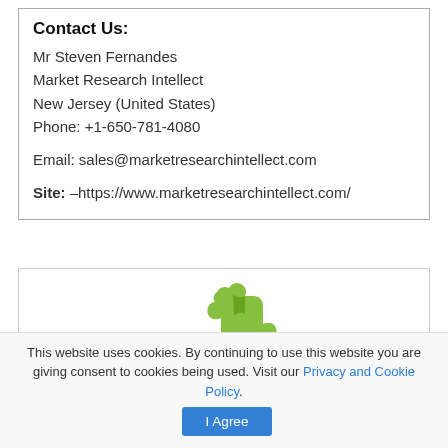Contact Us:
Mr Steven Fernandes
Market Research Intellect
New Jersey (United States)
Phone: +1-650-781-4080
Email: sales@marketresearchintellect.com
Site: –https://www.marketresearchintellect.com/
[Figure (logo): Market Research Intellect logo — green puzzle piece icon]
This website uses cookies. By continuing to use this website you are giving consent to cookies being used. Visit our Privacy and Cookie Policy.